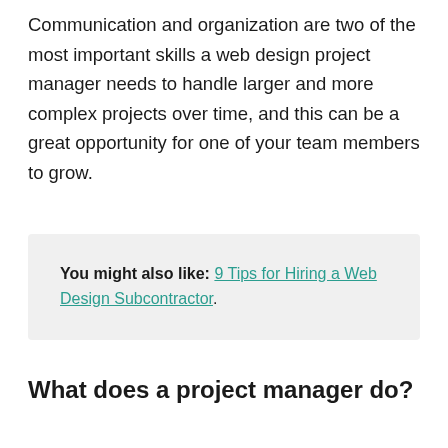Communication and organization are two of the most important skills a web design project manager needs to handle larger and more complex projects over time, and this can be a great opportunity for one of your team members to grow.
You might also like: 9 Tips for Hiring a Web Design Subcontractor.
What does a project manager do?